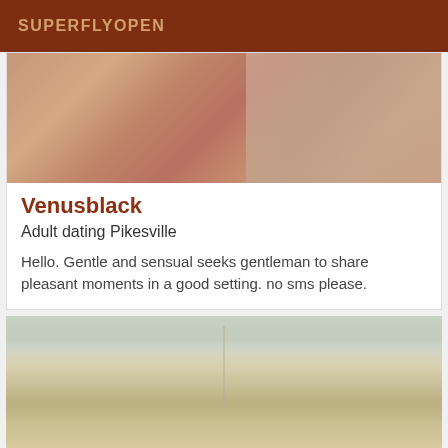SUPERFLYOPEN
[Figure (photo): Close-up photo of skin tones, pinkish-brown hues]
Venusblack
Adult dating Pikesville
Hello. Gentle and sensual seeks gentleman to share pleasant moments in a good setting. no sms please.
[Figure (photo): Photo of a person with short blonde hair, top of head visible]